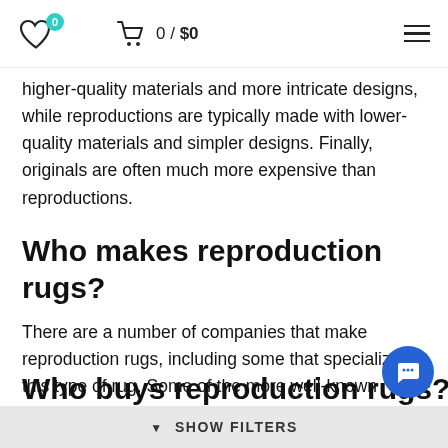0 / $0
higher-quality materials and more intricate designs, while reproductions are typically made with lower-quality materials and simpler designs. Finally, originals are often much more expensive than reproductions.
Who makes reproduction rugs?
There are a number of companies that make reproduction rugs, including some that specialize in this type of rug. Some of the more well-known companies include Karastan, Oriental Weavers, and Safavieh. These companies use a variety of methods to create their rugs, including hand-knotting, hand-tufting, and machine-made.
SHOW FILTERS
Who buys reproduction rugs?